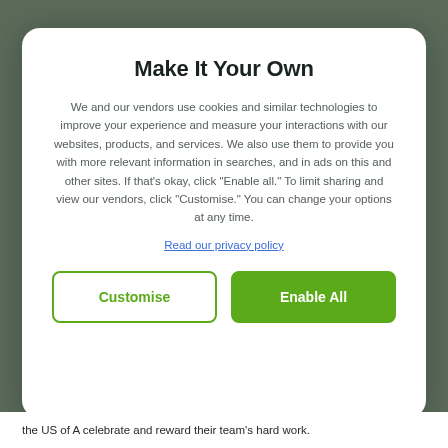Make It Your Own
We and our vendors use cookies and similar technologies to improve your experience and measure your interactions with our websites, products, and services. We also use them to provide you with more relevant information in searches, and in ads on this and other sites. If that's okay, click "Enable all." To limit sharing and view our vendors, click "Customise." You can change your options at any time.
Read our privacy policy
Customise
Enable All
the US of A celebrate and reward their team's hard work.